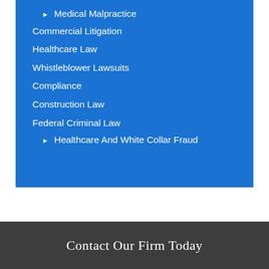▶ Medical Malpractice
Commercial Litigation
Healthcare Law
Whistleblower Lawsuits
Compliance
Construction Law
Federal Criminal Law
▶ Healthcare And White Collar Fraud
Contact Our Firm Today